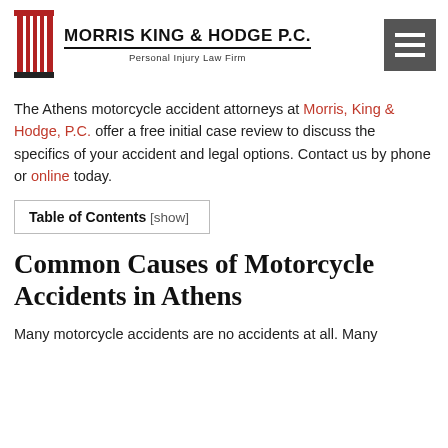Morris King & Hodge P.C. — Personal Injury Law Firm
The Athens motorcycle accident attorneys at Morris, King & Hodge, P.C. offer a free initial case review to discuss the specifics of your accident and legal options. Contact us by phone or online today.
| Table of Contents [show] |
| --- |
Common Causes of Motorcycle Accidents in Athens
Many motorcycle accidents are no accidents at all. Many